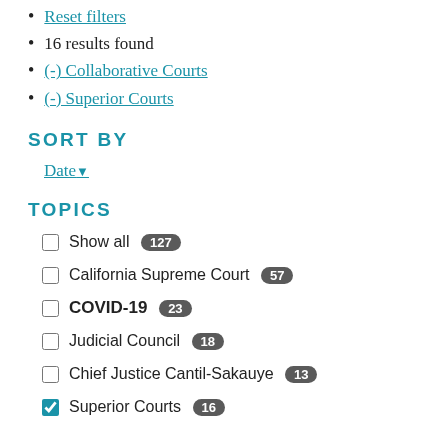Reset filters
16 results found
(-) Collaborative Courts
(-) Superior Courts
SORT BY
Date ▾
TOPICS
Show all 127
California Supreme Court 57
COVID-19 23
Judicial Council 18
Chief Justice Cantil-Sakauye 13
Superior Courts 16